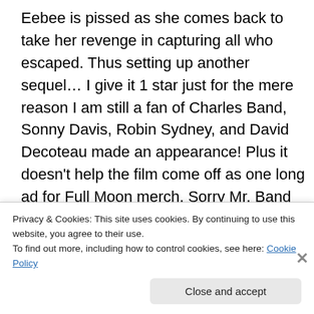Eebee is pissed as she comes back to take her revenge in capturing all who escaped. Thus setting up another sequel… I give it 1 star just for the mere reason I am still a fan of Charles Band, Sonny Davis, Robin Sydney, and David Decoteau made an appearance! Plus it doesn't help the film come off as one long ad for Full Moon merch. Sorry Mr. Band you have a few websites for that.
[Figure (other): GET THE APP banner with WordPress logo icon]
Privacy & Cookies: This site uses cookies. By continuing to use this website, you agree to their use.
To find out more, including how to control cookies, see here: Cookie Policy
Close and accept